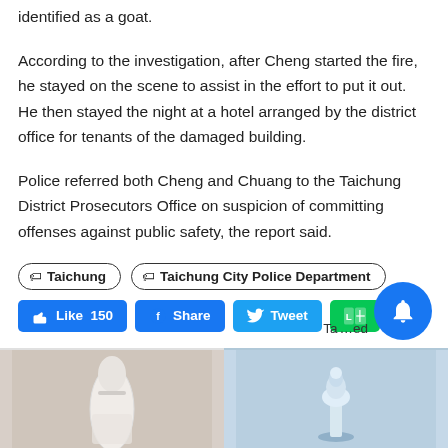identified as a goat.
According to the investigation, after Cheng started the fire, he stayed on the scene to assist in the effort to put it out. He then stayed the night at a hotel arranged by the district office for tenants of the damaged building.
Police referred both Cheng and Chuang to the Taichung District Prosecutors Office on suspicion of committing offenses against public safety, the report said.
🏷 Taichung
🏷 Taichung City Police Department
[Figure (screenshot): Social share buttons: Like 150 (blue), Share (blue), Tweet (light blue), Line (green)]
[Figure (photo): Two thumbnail images side by side at the bottom of the page. Left: a white bottle held by a hand on a beige background. Right: a chess piece on a light blue background.]